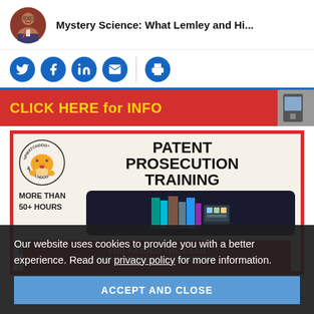Mystery Science: What Lemley and Hi...
[Figure (infographic): Social sharing icons: Twitter, Facebook, LinkedIn, Email, Print on blue circular buttons]
[Figure (infographic): Red ad banner with yellow bold text: CLICK HERE for INFO, with machine image on right]
[Figure (infographic): IPWatchdog Patent Prosecution Training advertisement with corgi logo, text: MORE THAN 50+ HOURS, 12 MONTHS, GO AT YOUR OWN PACE, YOU PASSED THE EXAM NOW LEARN TO PRACTICE]
Our website uses cookies to provide you with a better experience. Read our privacy policy for more information.
ACCEPT AND CLOSE